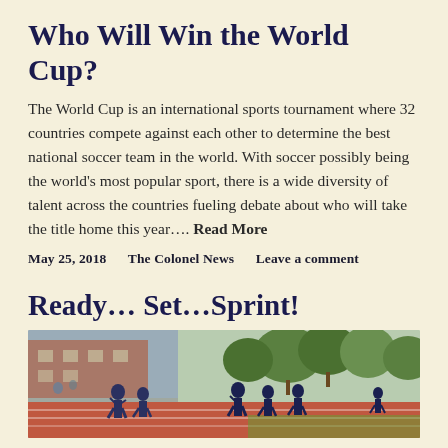Who Will Win the World Cup?
The World Cup is an international sports tournament where 32 countries compete against each other to determine the best national soccer team in the world. With soccer possibly being the world’s most popular sport, there is a wide diversity of talent across the countries fueling debate about who will take the title home this year…. Read More
May 25, 2018    The Colonel News    Leave a comment
Ready… Set…Sprint!
[Figure (photo): Female runners competing on a red track at an outdoor athletic event, with a brick building visible on the left and trees in the background on the right.]